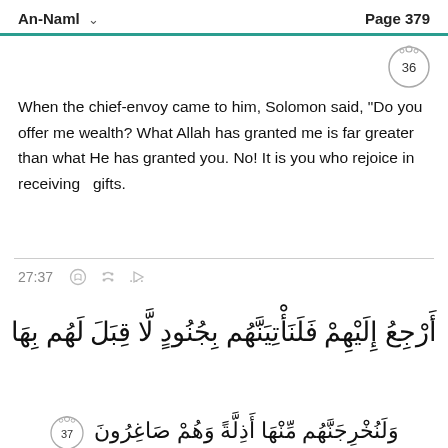An-Naml    Page 379
When the chief-envoy came to him, Solomon said, “Do you offer me wealth? What Allah has granted me is far greater than what He has granted you. No! It is you who rejoice in  receiving  gifts.
27:37
أرجِعْ إِليْهِمْ فَلَنَأْتِيَنَّهُمْ بِجُنودْ لَّا قِبَلَ لهُمْ بِهَا
وَلَنُخْرِجَنَّهُمْ مِّنْهَا أَذِلَّةً وَهُمْ صَاغِرُونَ